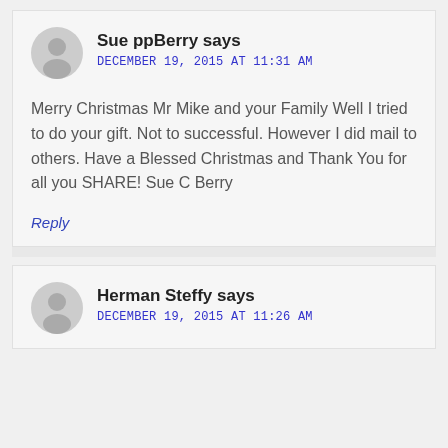Sue ppBerry says
DECEMBER 19, 2015 AT 11:31 AM
Merry Christmas Mr Mike and your Family Well I tried to do your gift. Not to successful. However I did mail to others. Have a Blessed Christmas and Thank You for all you SHARE! Sue C Berry
Reply
Herman Steffy says
DECEMBER 19, 2015 AT 11:26 AM